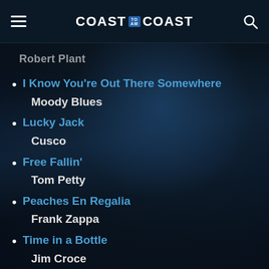Coast to Coast AM
Robert Plant
I Know You're Out There Somewhere
Moody Blues
Lucky Jack
Cusco
Free Fallin'
Tom Petty
Peaches En Regalia
Frank Zappa
Time in a Bottle
Jim Croce